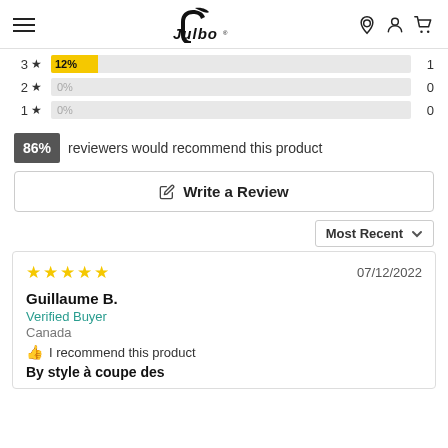Julbo header navigation
| Stars | Percentage | Count |
| --- | --- | --- |
| 3 ★ | 12% | 1 |
| 2 ★ | 0% | 0 |
| 1 ★ | 0% | 0 |
86% reviewers would recommend this product
✎ Write a Review
Most Recent ∨
★★★★★ 07/12/2022
Guillaume B.
Verified Buyer
Canada
👍 I recommend this product
By style à coupe des